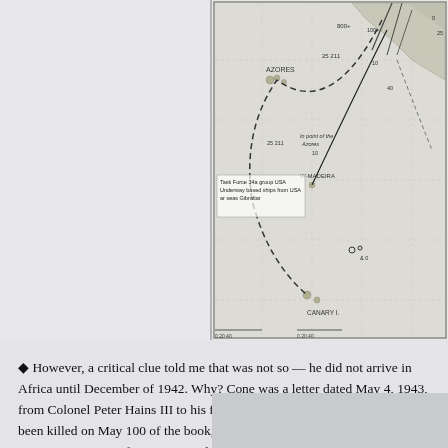[Figure (map): Partial nautical/military map showing the Azores, Madeira, and Canary Islands region with route lines and annotations. Shows Task Force 34 group, USA routes, with dashed and solid lines indicating ship movements. Labels include AZORES, W-MADEIRA, CANARY I.]
However, a critical clue told me that was not so — he did not arrive in Africa until December of 1942. Why? One was a letter dated May 4, 1943, from Colonel Peter Hains III to his father informing him that his son had been killed on M... [page 100 of the book, The Battle History of the 1st Ar...] Hains was sent to Africa in December. That sugg... that latter group.